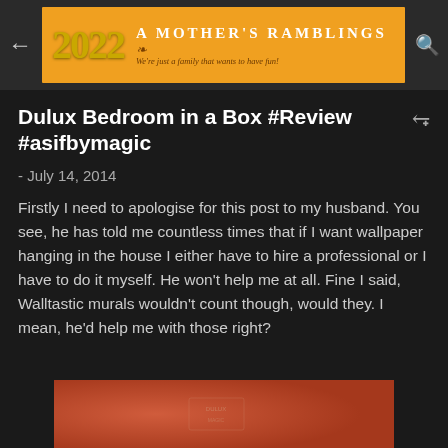[Figure (logo): Blog header banner for 'A Mother's Ramblings' with orange background, '2022' in gold balloon letters, and tagline 'We're just a family that wants to have fun!']
Dulux Bedroom in a Box #Review #asifbymagic
- July 14, 2014
Firstly I need to apologise for this post to my husband. You see, he has told me countless times that if I want wallpaper hanging in the house I either have to hire a professional or I have to do it myself. He won't help me at all. Fine I said, Walltastic murals wouldn't count though, would they. I mean, he'd help me with those right?
[Figure (photo): Partial photo of a red/terracotta colored wallpaper or surface with some text/label visible]